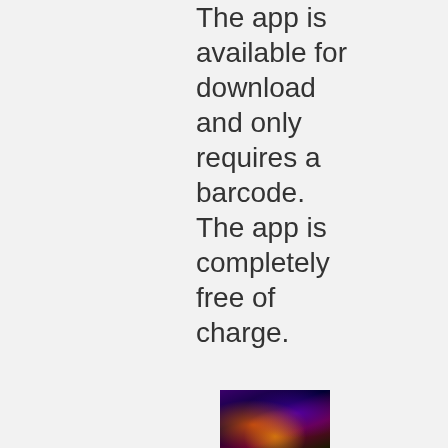The app is available for download and only requires a barcode. The app is completely free of charge.
[Figure (photo): A colorful illuminated scene with purple, orange, and yellow lights, partially visible at the bottom of the page.]